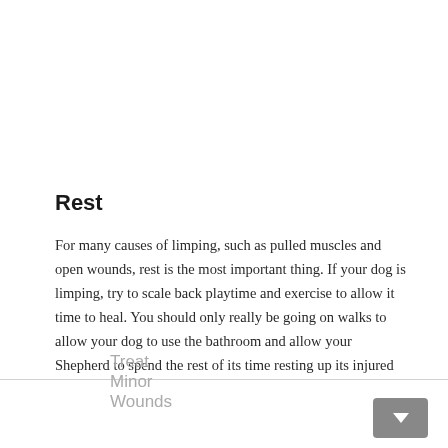Rest
For many causes of limping, such as pulled muscles and open wounds, rest is the most important thing. If your dog is limping, try to scale back playtime and exercise to allow it time to heal. You should only really be going on walks to allow your dog to use the bathroom and allow your Shepherd to spend the rest of its time resting up its injured leg or paw.
Treat Minor Wounds